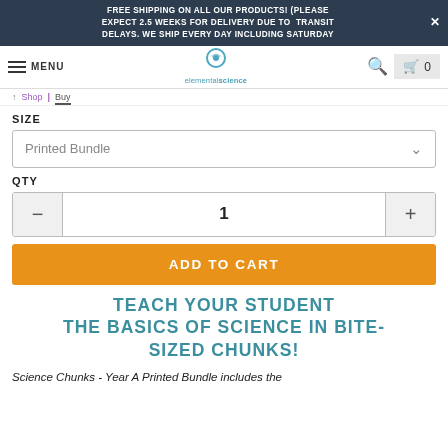FREE SHIPPING ON ALL OUR PRODUCTS! (PLEASE EXPECT 2.5 WEEKS FOR DELIVERY DUE TO TRANSIT DELAYS. WE SHIP EVERY DAY INCLUDING SATURDAY
MENU | elementalscience | 0
SIZE
Printed Bundle
QTY
1
ADD TO CART
TEACH YOUR STUDENT THE BASICS OF SCIENCE IN BITE-SIZED CHUNKS!
Science Chunks - Year A Printed Bundle includes the